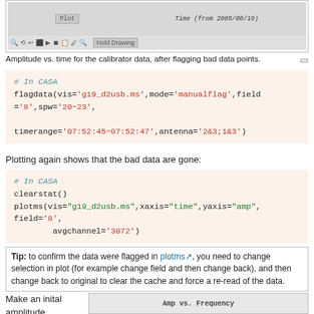[Figure (screenshot): PlotMS toolbar screenshot showing amplitude vs time for calibrator data after flagging]
Amplitude vs. time for the calibrator data, after flagging bad data points.
# In CASA
flagdata(vis='g19_d2usb.ms',mode='manualflag',field='8',spw='20~23',
timerange='07:52:45~07:52:47',antenna='2&3;1&3')
Plotting again shows that the bad data are gone:
# In CASA
clearstat()
plotms(vis="g19_d2usb.ms",xaxis="time",yaxis="amp",field='8',
        avgchannel='3072')
Tip: to confirm the data were flagged in plotms, you need to change selection in plot (for example change field and then change back), and then change back to original to clear the cache and force a re-read of the data.
Make an inital amplitude
[Figure (screenshot): PlotMS window showing Amp vs. Frequency plot]